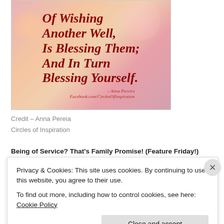[Figure (illustration): Inspirational quote image with bokeh background. Text reads: 'Of Wishing Another Well, Is Blessing Them; And In Turn Blessing Yourself.' attributed to Anna Pereira, Facebook.com/CirclesOfInspiration]
Credit – Anna Pereia
Circles of Inspiration
Being of Service? That's Family Promise! (Feature Friday!)
Privacy & Cookies: This site uses cookies. By continuing to use this website, you agree to their use.
To find out more, including how to control cookies, see here: Cookie Policy